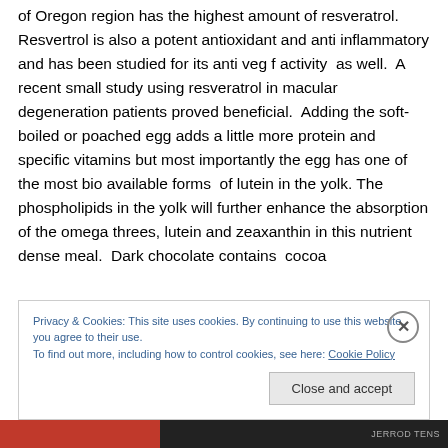of Oregon region has the highest amount of resveratrol. Resvertrol is also a potent antioxidant and anti inflammatory and has been studied for its anti veg f activity  as well.  A recent small study using resveratrol in macular degeneration patients proved beneficial.  Adding the soft-boiled or poached egg adds a little more protein and specific vitamins but most importantly the egg has one of the most bio available forms  of lutein in the yolk. The phospholipids in the yolk will further enhance the absorption of the omega threes, lutein and zeaxanthin in this nutrient dense meal.  Dark chocolate contains  cocoa
Privacy & Cookies: This site uses cookies. By continuing to use this website, you agree to their use.
To find out more, including how to control cookies, see here: Cookie Policy